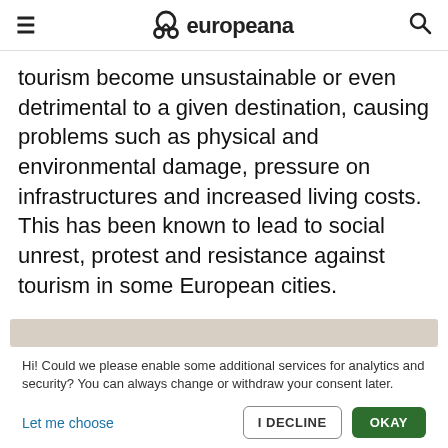europeana
tourism become unsustainable or even detrimental to a given destination, causing problems such as physical and environmental damage, pressure on infrastructures and increased living costs. This has been known to lead to social unrest, protest and resistance against tourism in some European cities.
Hi! Could we please enable some additional services for analytics and security? You can always change or withdraw your consent later.